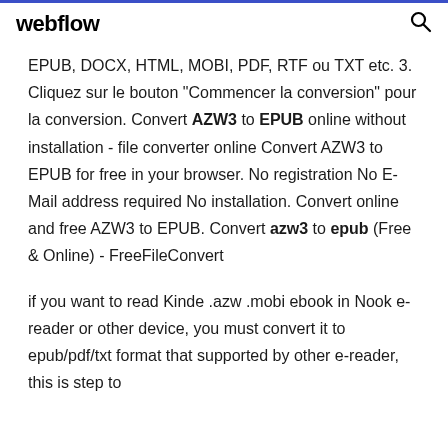webflow
EPUB, DOCX, HTML, MOBI, PDF, RTF ou TXT etc. 3. Cliquez sur le bouton "Commencer la conversion" pour la conversion. Convert AZW3 to EPUB online without installation - file converter online Convert AZW3 to EPUB for free in your browser. No registration No E-Mail address required No installation. Convert online and free AZW3 to EPUB. Convert azw3 to epub (Free & Online) - FreeFileConvert
if you want to read Kinde .azw .mobi ebook in Nook e-reader or other device, you must convert it to epub/pdf/txt format that supported by other e-reader, this is step to